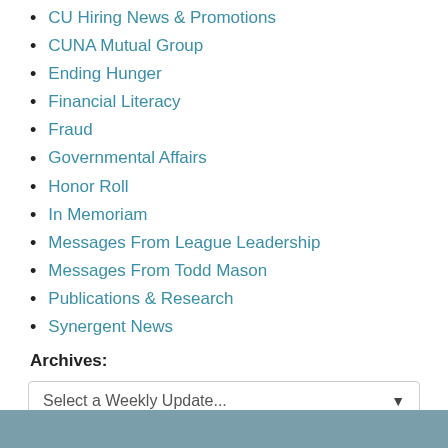CU Hiring News & Promotions
CUNA Mutual Group
Ending Hunger
Financial Literacy
Fraud
Governmental Affairs
Honor Roll
In Memoriam
Messages From League Leadership
Messages From Todd Mason
Publications & Research
Synergent News
Archives:
Select a Weekly Update...